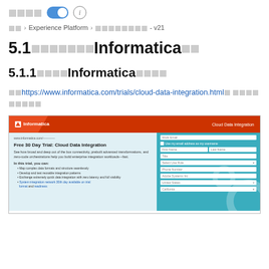[chars] [toggle] (i)
[chars] > Experience Platform > [chars] - v21
5.1[chars]Informatica[chars]
5.1.1[chars]Informatica[chars]
[chars]https://www.informatica.com/trials/cloud-data-integration.html[chars] [chars]
[Figure (screenshot): Screenshot of Informatica Cloud Data Integration free 30-day trial page with a form on the right side including fields for Work Email, First Name, Last Name, Title, Select Use Role, Phone Number, Adobe Systems Inc, United States, California]